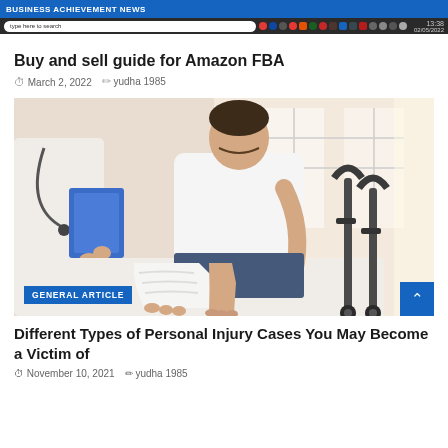BUSINESS ACHIEVEMENT NEWS
Buy and sell guide for Amazon FBA
March 2, 2022  yudha 1985
[Figure (photo): A patient with a broken leg in a cast sitting on a medical table, with a doctor in a white coat holding a clipboard and crutches visible in the background. A blue label reading GENERAL ARTICLE is overlaid at the bottom left.]
Different Types of Personal Injury Cases You May Become a Victim of
November 10, 2021  yudha 1985